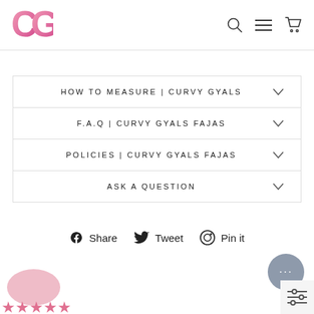[Figure (logo): Curvy Gyals pink CG logo in top left]
[Figure (other): Navigation icons: search, menu, cart in top right]
HOW TO MEASURE | CURVY GYALS
F.A.Q | CURVY GYALS FAJAS
POLICIES | CURVY GYALS FAJAS
ASK A QUESTION
Share  Tweet  Pin it
[Figure (other): Chat bubble with ellipsis icon, gray circle, bottom right]
[Figure (other): Pink star rating area bottom left with pink avatar icon]
[Figure (other): Filter/settings icon bottom right corner]